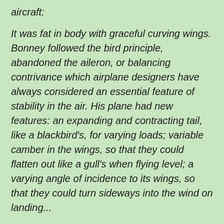aircraft:
It was fat in body with graceful curving wings. Bonney followed the bird principle, abandoned the aileron, or balancing contrivance which airplane designers have always considered an essential feature of stability in the air. His plane had new features: an expanding and contracting tail, like a blackbird's, for varying loads; variable camber in the wings, so that they could flatten out like a gull's when flying level; a varying angle of incidence to its wings, so that they could turn sideways into the wind on landing...
Bonney was killed on May 4, 1928 during the maiden flight of the Bonney Gull when the